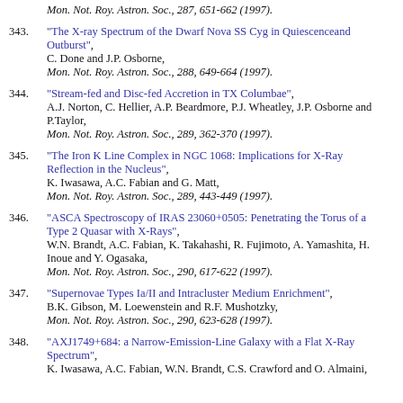Mon. Not. Roy. Astron. Soc., 287, 651-662 (1997).
343. "The X-ray Spectrum of the Dwarf Nova SS Cyg in Quiescenceand Outburst", C. Done and J.P. Osborne, Mon. Not. Roy. Astron. Soc., 288, 649-664 (1997).
344. "Stream-fed and Disc-fed Accretion in TX Columbae", A.J. Norton, C. Hellier, A.P. Beardmore, P.J. Wheatley, J.P. Osborne and P.Taylor, Mon. Not. Roy. Astron. Soc., 289, 362-370 (1997).
345. "The Iron K Line Complex in NGC 1068: Implications for X-Ray Reflection in the Nucleus", K. Iwasawa, A.C. Fabian and G. Matt, Mon. Not. Roy. Astron. Soc., 289, 443-449 (1997).
346. "ASCA Spectroscopy of IRAS 23060+0505: Penetrating the Torus of a Type 2 Quasar with X-Rays", W.N. Brandt, A.C. Fabian, K. Takahashi, R. Fujimoto, A. Yamashita, H. Inoue and Y. Ogasaka, Mon. Not. Roy. Astron. Soc., 290, 617-622 (1997).
347. "Supernovae Types Ia/II and Intracluster Medium Enrichment", B.K. Gibson, M. Loewenstein and R.F. Mushotzky, Mon. Not. Roy. Astron. Soc., 290, 623-628 (1997).
348. "AXJ1749+684: a Narrow-Emission-Line Galaxy with a Flat X-Ray Spectrum", K. Iwasawa, A.C. Fabian, W.N. Brandt, C.S. Crawford and O. Almaini,